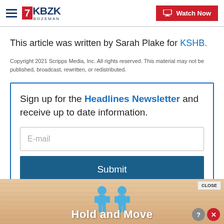KBZK BOZEMAN | Watch Now
This article was written by Sarah Plake for KSHB.
Copyright 2021 Scripps Media, Inc. All rights reserved. This material may not be published, broadcast, rewritten, or redistributed.
Sign up for the Headlines Newsletter and receive up to date information.
[Figure (screenshot): Email input field with placeholder 'E-mail' and a blue Submit button]
[Figure (screenshot): Ad banner at bottom showing 'Hold and Move' with cartoon figures and close/X buttons]